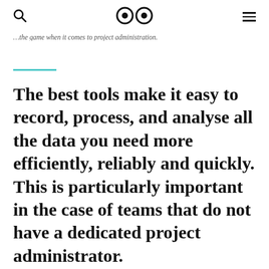🔍  👀  ☰
…the game when it comes to project administration.
The best tools make it easy to record, process, and analyse all the data you need more efficiently, reliably and quickly. This is particularly important in the case of teams that do not have a dedicated project administrator.